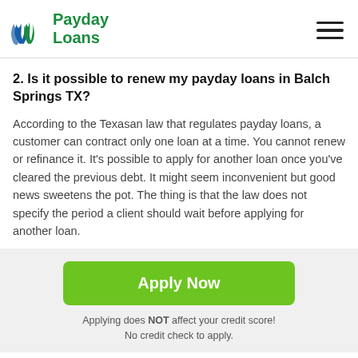Payday Loans
2. Is it possible to renew my payday loans in Balch Springs TX?
According to the Texasan law that regulates payday loans, a customer can contract only one loan at a time. You cannot renew or refinance it. It's possible to apply for another loan once you've cleared the previous debt. It might seem inconvenient but good news sweetens the pot. The thing is that the law does not specify the period a client should wait before applying for another loan.
Apply Now
Applying does NOT affect your credit score! No credit check to apply.